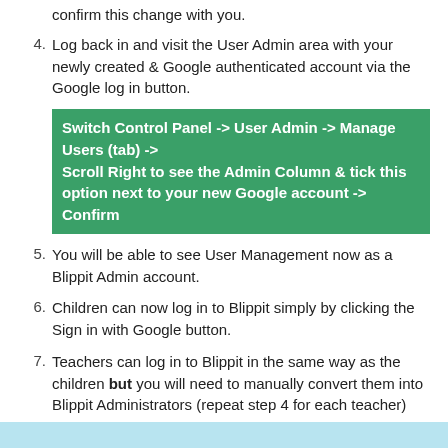confirm this change with you.
4. Log back in and visit the User Admin area with your newly created & Google authenticated account via the Google log in button.
Switch Control Panel -> User Admin -> Manage Users (tab) -> Scroll Right to see the Admin Column & tick this option next to your new Google account -> Confirm
5. You will be able to see User Management now as a Blippit Admin account.
6. Children can now log in to Blippit simply by clicking the Sign in with Google button.
7. Teachers can log in to Blippit in the same way as the children but you will need to manually convert them into Blippit Administrators (repeat step 4 for each teacher)
[Figure (screenshot): Partial screenshot of a web interface, light blue background visible at bottom of page]